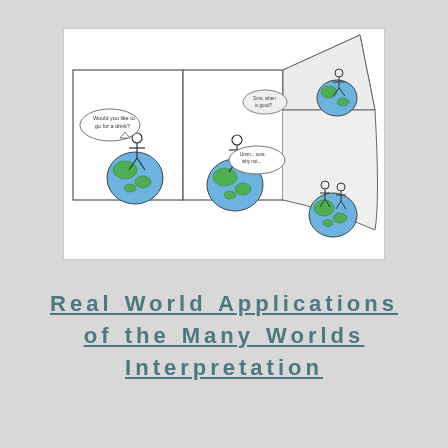[Figure (illustration): A cartoon illustration showing the Many Worlds Interpretation concept: a stick figure standing on a globe (Earth) in a comic-strip panel on the left saying 'Would you like to go for a drink?', then the scene splits into branching parallel worlds depicted in a perspective/dimensional view, with multiple versions of the stick figure on Earth globes in different worlds/panels, with additional speech bubbles.]
Real World Applications of the Many Worlds Interpretation